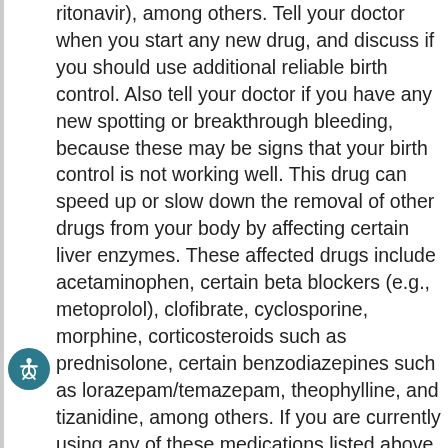ritonavir), among others. Tell your doctor when you start any new drug, and discuss if you should use additional reliable birth control. Also tell your doctor if you have any new spotting or breakthrough bleeding, because these may be signs that your birth control is not working well. This drug can speed up or slow down the removal of other drugs from your body by affecting certain liver enzymes. These affected drugs include acetaminophen, certain beta blockers (e.g., metoprolol), clofibrate, cyclosporine, morphine, corticosteroids such as prednisolone, certain benzodiazepines such as lorazepam/temazepam, theophylline, and tizanidine, among others. If you are currently using any of these medications listed above, tell your doctor or pharmacist before starting this medication. This medication can affect the results of certain lab tests (e.g., blood tests for clotting factors, thyroid). Make sure laboratory personnel and all your doctors know you use this medication. This document does not contain all possible drug interactions. Keep a list of all the products you use. Share this list with your doctor and pharmacist to lessen your risk for serious medication problems.